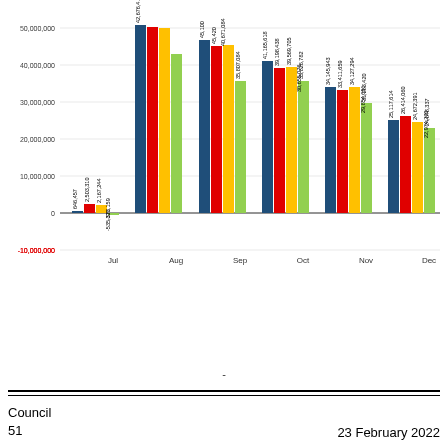[Figure (grouped-bar-chart): Monthly financial data]
-
Council
51
23 February 2022